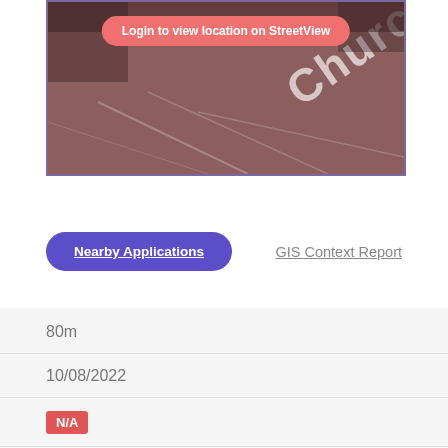[Figure (photo): Street view image of a road with 'Church S' text visible, overlaid with a reddish tint and a purple border]
Login to view location on StreetView
Nearby Applications
GIS Context Report
80m
10/08/2022
N/A
No. 1A Rathgar Place Rathmines Dublin 6